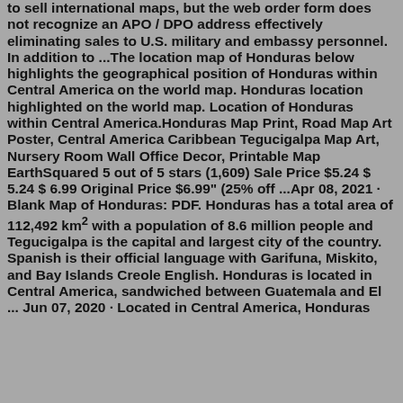to sell international maps, but the web order form does not recognize an APO / DPO address effectively eliminating sales to U.S. military and embassy personnel. In addition to ...The location map of Honduras below highlights the geographical position of Honduras within Central America on the world map. Honduras location highlighted on the world map. Location of Honduras within Central America.Honduras Map Print, Road Map Art Poster, Central America Caribbean Tegucigalpa Map Art, Nursery Room Wall Office Decor, Printable Map EarthSquared 5 out of 5 stars (1,609) Sale Price $5.24 $ 5.24 $ 6.99 Original Price $6.99" (25% off ...Apr 08, 2021 · Blank Map of Honduras: PDF. Honduras has a total area of 112,492 km² with a population of 8.6 million people and Tegucigalpa is the capital and largest city of the country. Spanish is their official language with Garifuna, Miskito, and Bay Islands Creole English. Honduras is located in Central America, sandwiched between Guatemala and El ... Jun 07, 2020 · Located in Central America, Honduras